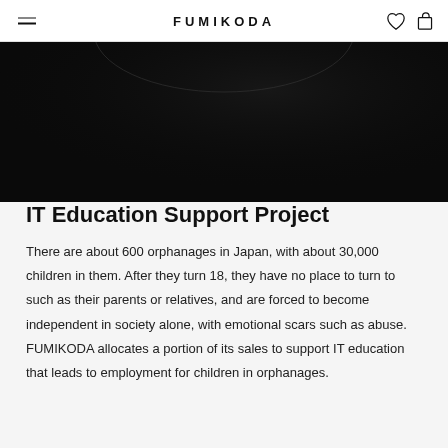FUMIKODA
[Figure (photo): Dark black fabric close-up, possibly a bag or clothing item with a curved neckline edge visible against dark background]
IT Education Support Project
There are about 600 orphanages in Japan, with about 30,000 children in them. After they turn 18, they have no place to turn to such as their parents or relatives, and are forced to become independent in society alone, with emotional scars such as abuse. FUMIKODA allocates a portion of its sales to support IT education that leads to employment for children in orphanages.